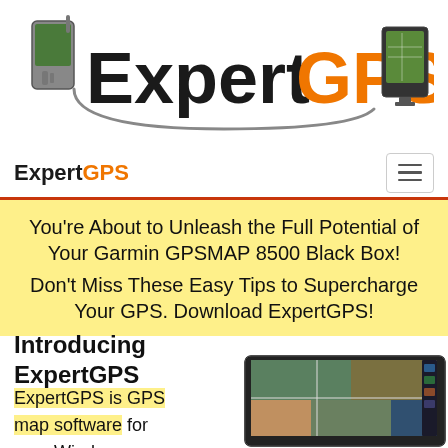[Figure (logo): ExpertGPS logo with GPS device on left, large bold text 'Expert' in black and 'GPS' in orange, and a monitor/map display on the right connected by a cable]
ExpertGPS [navigation menu button]
You're About to Unleash the Full Potential of Your Garmin GPSMAP 8500 Black Box! Don't Miss These Easy Tips to Supercharge Your GPS. Download ExpertGPS!
Introducing ExpertGPS
ExpertGPS is GPS map software for your Windows computer, tablet, or
[Figure (photo): Garmin GPSMAP 8500 Black Box device showing a map display screen]